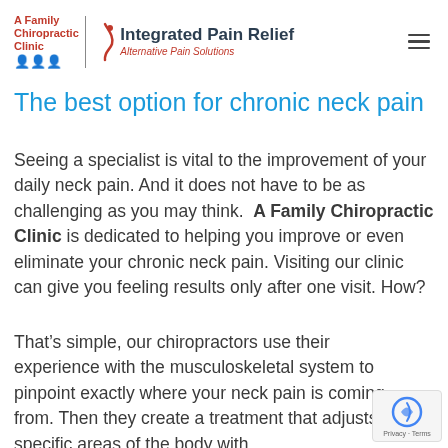[Figure (logo): A Family Chiropractic Clinic logo with Integrated Pain Relief - Alternative Pain Solutions branding and hamburger menu icon]
The best option for chronic neck pain
Seeing a specialist is vital to the improvement of your daily neck pain. And it does not have to be as challenging as you may think. A Family Chiropractic Clinic is dedicated to helping you improve or even eliminate your chronic neck pain. Visiting our clinic can give you feeling results only after one visit. How?
That’s simple, our chiropractors use their experience with the musculoskeletal system to pinpoint exactly where your neck pain is coming from. Then they create a treatment that adjusts specific areas of the body with